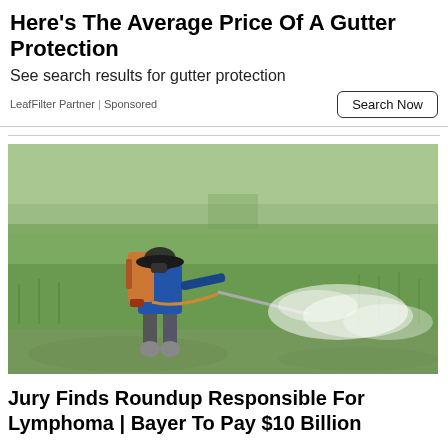Here's The Average Price Of A Gutter Protection
See search results for gutter protection
LeafFilter Partner | Sponsored
[Figure (photo): A farmer wearing a wide-brim hat, blue long-sleeve shirt, and boots, carrying a large backpack sprayer and spraying pesticide across a flooded rice paddy field. A visible white mist spray extends to the right.]
Jury Finds Roundup Responsible For Lymphoma | Bayer To Pay $10 Billion